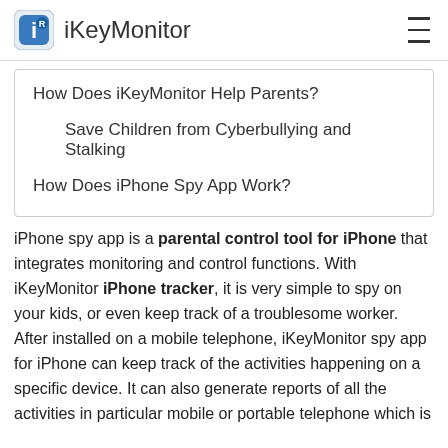iKeyMonitor
How Does iKeyMonitor Help Parents?
Save Children from Cyberbullying and Stalking
How Does iPhone Spy App Work?
iPhone spy app is a parental control tool for iPhone that integrates monitoring and control functions. With iKeyMonitor iPhone tracker, it is very simple to spy on your kids, or even keep track of a troublesome worker. After installed on a mobile telephone, iKeyMonitor spy app for iPhone can keep track of the activities happening on a specific device. It can also generate reports of all the activities in particular mobile or portable telephone which is